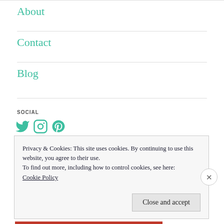About
Contact
Blog
SOCIAL
[Figure (other): Social media icons: Twitter, Instagram, Pinterest in teal/green color]
Privacy & Cookies: This site uses cookies. By continuing to use this website, you agree to their use.
To find out more, including how to control cookies, see here: Cookie Policy
Close and accept